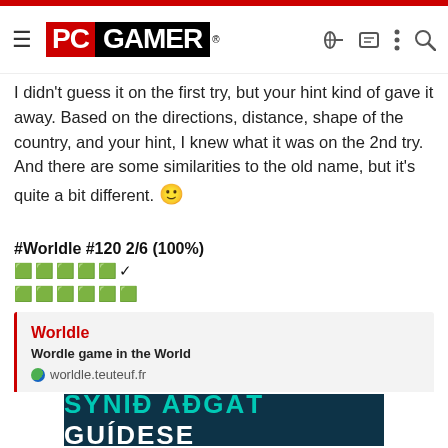PC GAMER
I didn't guess it on the first try, but your hint kind of gave it away. Based on the directions, distance, shape of the country, and your hint, I knew what it was on the 2nd try. And there are some similarities to the old name, but it's quite a bit different. 🙂
#Worldle #120 2/6 (100%)
🟩🟩🟩🟩🟩✓
🟩🟩🟩🟩🟩🟩
Worldle
Wordle game in the World
worldle.teuteuf.fr
Brian Boru
[Figure (other): Ad banner showing text SÝNIÐ AÐGÁT GUÍDESE in teal/cyan on dark background]